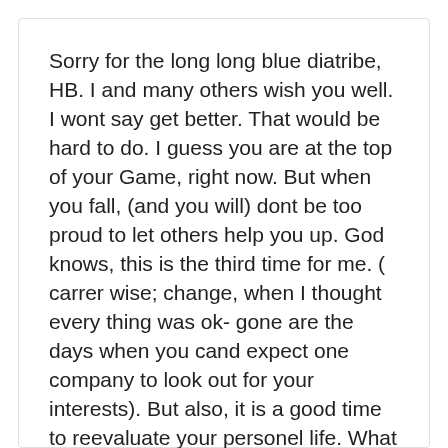Sorry for the long long blue diatribe, HB. I and many others wish you well. I wont say get better. That would be hard to do. I guess you are at the top of your Game, right now. But when you fall, (and you will) dont be too proud to let others help you up. God knows, this is the third time for me. ( carrer wise; change, when I thought every thing was ok- gone are the days when you cand expect one company to look out for your interests). But also, it is a good time to reevaluate your personel life. What I was at your age ( 29?- a tech quality control guy in open pit minning is not what I am today. Right now, an unemployed mid level